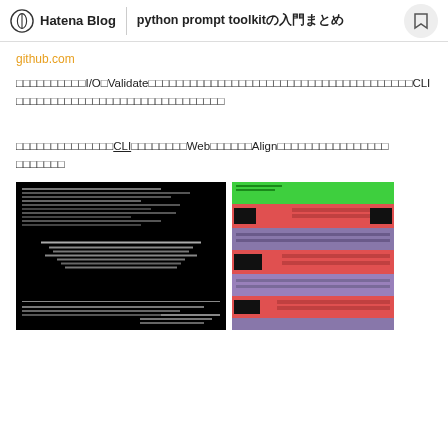Hatena Blog | python prompt toolkit入門のまとめ
github.com
非同期I/OやValidateなどの高度な機能も含めて整理しきれていないが、CLIアプリケーションとしての基本的な機能はざっとまとめた。
最終的にはこの記事のCLIはもちろん、WebやAlignなどのフレームワークにも対応できるようになりたい。
[Figure (screenshot): Terminal screenshot showing black background with white text lines, a centered text block, and bottom-right text.]
[Figure (screenshot): Colorful terminal UI screenshot showing a table with green header row, red and purple rows with black blocks/highlights.]